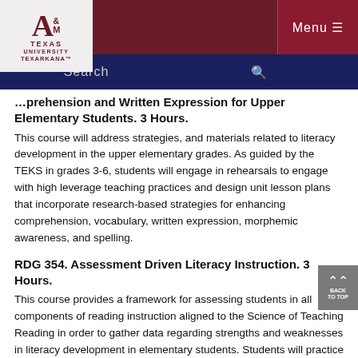[Figure (logo): Texas A&M University Texarkana logo in maroon on light background]
Menu ☰
Search 🔍
...prehension and Written Expression for Upper Elementary Students. 3 Hours.
This course will address strategies, and materials related to literacy development in the upper elementary grades. As guided by the TEKS in grades 3-6, students will engage in rehearsals to engage with high leverage teaching practices and design unit lesson plans that incorporate research-based strategies for enhancing comprehension, vocabulary, written expression, morphemic awareness, and spelling.
RDG 354. Assessment Driven Literacy Instruction. 3 Hours.
This course provides a framework for assessing students in all components of reading instruction aligned to the Science of Teaching Reading in order to gather data regarding strengths and weaknesses in literacy development in elementary students. Students will practice effective assessment techniques, data analysis and incorporate research-based strategies for addressing deficits or enhancing strengths into intervention lesson...